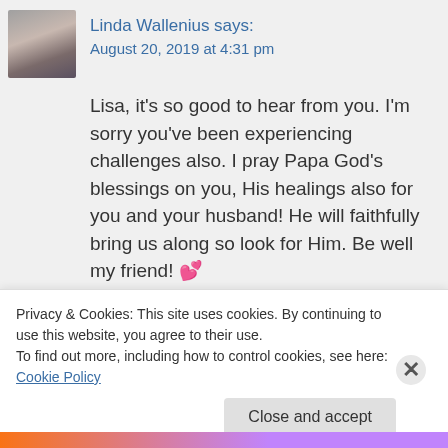Linda Wallenius says:
August 20, 2019 at 4:31 pm
Lisa, it's so good to hear from you. I'm sorry you've been experiencing challenges also. I pray Papa God's blessings on you, His healings also for you and your husband! He will faithfully bring us along so look for Him. Be well my friend! 💕
Reply
Privacy & Cookies: This site uses cookies. By continuing to use this website, you agree to their use.
To find out more, including how to control cookies, see here: Cookie Policy
Close and accept